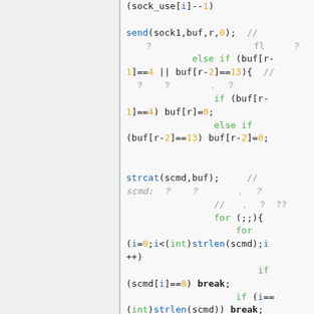[Figure (screenshot): Source code snippet in C/C++ with syntax highlighting showing socket send, buffer manipulation, strcat, and nested for loops with break conditions.]